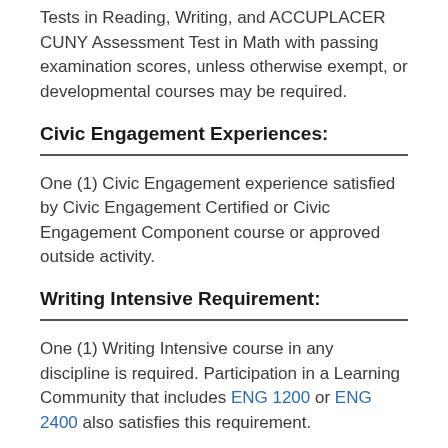Tests in Reading, Writing, and ACCUPLACER CUNY Assessment Test in Math with passing examination scores, unless otherwise exempt, or developmental courses may be required.
Civic Engagement Experiences:
One (1) Civic Engagement experience satisfied by Civic Engagement Certified or Civic Engagement Component course or approved outside activity.
Writing Intensive Requirement:
One (1) Writing Intensive course in any discipline is required. Participation in a Learning Community that includes ENG 1200 or ENG 2400 also satisfies this requirement.